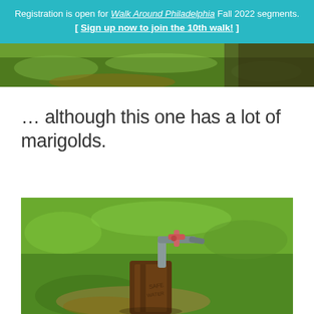Registration is open for Walk Around Philadelphia Fall 2022 segments. [ Sign up now to join the 10th walk! ]
[Figure (photo): Partial view of a grassy outdoor area, bottom strip of a landscape photo]
… although this one has a lot of marigolds.
[Figure (photo): An outdoor water spigot mounted on a wooden post surrounded by green grass in bright sunlight]